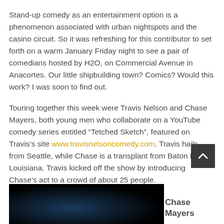Stand-up comedy as an entertainment option is a phenomenon associated with urban nightspots and the casino circuit.  So it was refreshing for this contributor to set forth on a warm January Friday night to see a pair of comedians hosted by H2O, on Commercial Avenue in Anacortes.  Our little shipbuilding town? Comics?  Would this work?  I was soon to find out.
Touring together this week were Travis Nelson and Chase Mayers, both young men who collaborate on a YouTube comedy series entitled “Tetched Sketch”, featured on Travis’s site www.travisnelsoncomedy.com.  Travis hails from Seattle, while Chase is a transplant from Baton Rouge, Louisiana.  Travis kicked off the show by introducing Chase’s act to a crowd of about 25 people.
[Figure (photo): Dark photo, mostly black with a faint blue-tinted light on the left side, taken in a dim venue.]
Chase Mayers